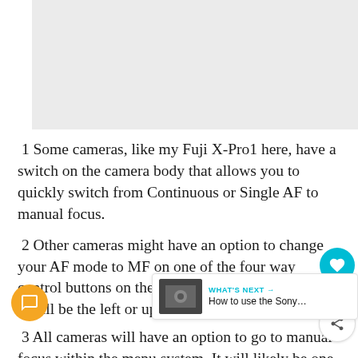[Figure (photo): Light gray placeholder image area at the top of the page]
1 Some cameras, like my Fuji X-Pro1 here, have a switch on the camera body that allows you to quickly switch from Continuous or Single AF to manual focus.
2 Other cameras might have an option to change your AF mode to MF on one of the four way control buttons on the back of the camera. Usually it will be the left or up button.
3 All cameras will have an option to go to manual focus within the menu system. It will likely be one of the top rows in your